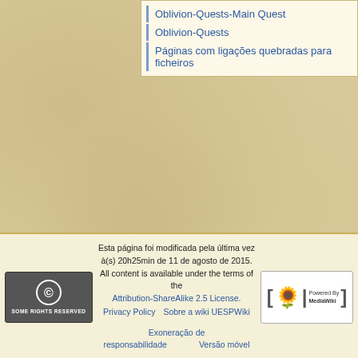Oblivion-Quests-Main Quest
Oblivion-Quests
Páginas com ligações quebradas para ficheiros
Esta página foi modificada pela última vez à(s) 20h25min de 11 de agosto de 2015. All content is available under the terms of the Attribution-ShareAlike 2.5 License. Privacy Policy  Sobre a wiki UESPWiki  Exoneração de responsabilidade  Versão móvel